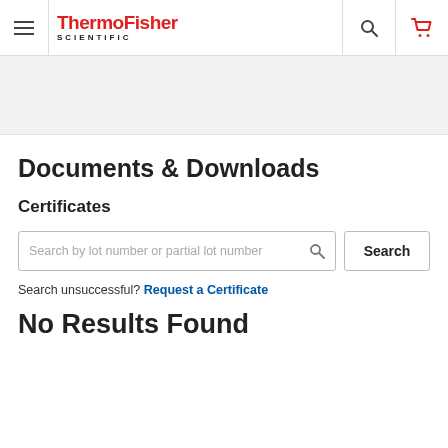[Figure (logo): ThermoFisher Scientific logo with hamburger menu, search icon, and cart icon in header navigation bar]
[Figure (other): Gray banner/hero area below the navigation header]
Documents & Downloads
Certificates
Search by lot number or partial lot number [search icon] | Search
Search unsuccessful? Request a Certificate
No Results Found